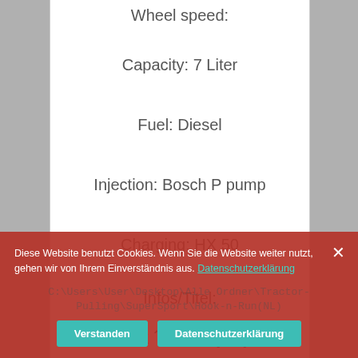Wheel speed:
Capacity: 7 Liter
Fuel: Diesel
Injection: Bosch P pump
Charging: HX 50
Infos/Titel:
Hook ´n Run (NL):
C:\Users\User\Desktop\Alle Ordner\Tractor-Pulling\SuperSport\Hook-n-Run(NL)
Diese Website benutzt Cookies. Wenn Sie die Website weiter nutzt, gehen wir von Ihrem Einverständnis aus. Datenschutzerklärung
Verstanden
Datenschutzerklärung